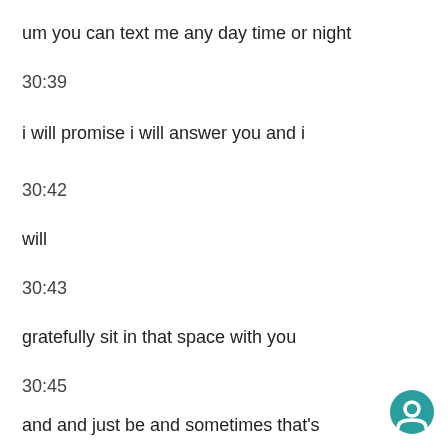um you can text me any day time or night
30:39
i will promise i will answer you and i
30:42
will
30:43
gratefully sit in that space with you
30:45
and and just be and sometimes that's